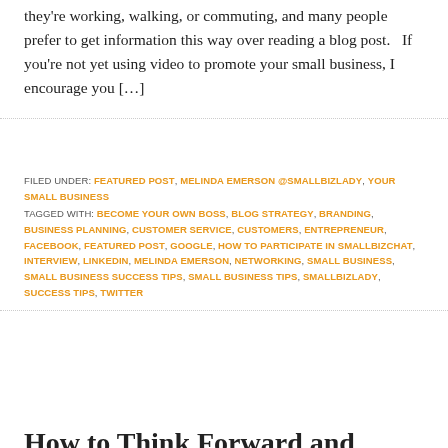they're working, walking, or commuting, and many people prefer to get information this way over reading a blog post.   If you're not yet using video to promote your small business, I encourage you […]
FILED UNDER: FEATURED POST, MELINDA EMERSON @SMALLBIZLADY, YOUR SMALL BUSINESS TAGGED WITH: BECOME YOUR OWN BOSS, BLOG STRATEGY, BRANDING, BUSINESS PLANNING, CUSTOMER SERVICE, CUSTOMERS, ENTREPRENEUR, FACEBOOK, FEATURED POST, GOOGLE, HOW TO PARTICIPATE IN SMALLBIZCHAT, INTERVIEW, LINKEDIN, MELINDA EMERSON, NETWORKING, SMALL BUSINESS, SMALL BUSINESS SUCCESS TIPS, SMALL BUSINESS TIPS, SMALLBIZLADY, SUCCESS TIPS, TWITTER
How to Think Forward and